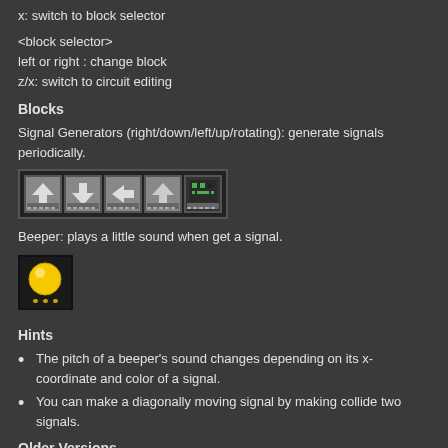x: switch to block selector
<block selector>
left or right : change block
z/x: switch to circuit editing
Blocks
Signal Generators (right/down/left/up/rotating): generate signals periodically.
[Figure (illustration): Five pixel-art signal generator block icons in a row on dark background]
Beeper: plays a little sound when get a signal.
[Figure (illustration): Pixel-art beeper block icon showing a yellow/gold orb on black background]
Hints
The pitch of a beeper's sound changes depending on its x-coordinate and color of a signal.
You can make a diagonally moving signal by making collide two signals.
Older Versions